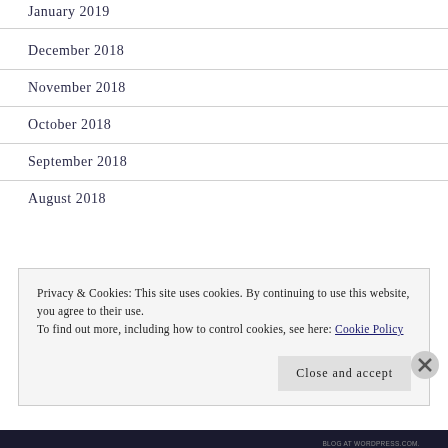January 2019
December 2018
November 2018
October 2018
September 2018
August 2018
Privacy & Cookies: This site uses cookies. By continuing to use this website, you agree to their use.
To find out more, including how to control cookies, see here: Cookie Policy
BLOG AT WORDPRESS.COM.